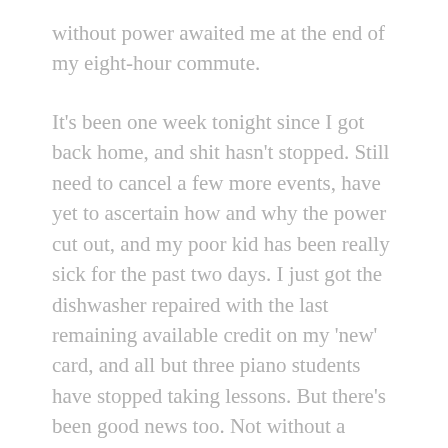without power awaited me at the end of my eight-hour commute.
It's been one week tonight since I got back home, and shit hasn't stopped. Still need to cancel a few more events, have yet to ascertain how and why the power cut out, and my poor kid has been really sick for the past two days. I just got the dishwasher repaired with the last remaining available credit on my 'new' card, and all but three piano students have stopped taking lessons. But there's been good news too. Not without a hitch, though...
A very nicely produced piece on The Studio appeared on the local news only a few days after we lost power, and here the irony continues. Just the day before it aired I had discontinued my cable service in order to save some money, so I wasn't able to actually watch it live on TV from my house. Oh, the timing. And the piece itself is lovely; it